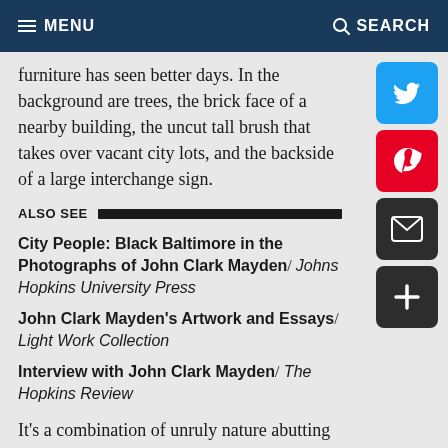MENU | SEARCH
furniture has seen better days. In the background are trees, the brick face of a nearby building, the uncut tall brush that takes over vacant city lots, and the backside of a large interchange sign.
ALSO SEE
City People: Black Baltimore in the Photographs of John Clark Mayden / Johns Hopkins University Press
John Clark Mayden's Artwork and Essays / Light Work Collection
Interview with John Clark Mayden / The Hopkins Review
It's a combination of unruly nature abutting urban life that seems strange until you see Mayden's location note: the Highway to Nowhere, that 1.3-mile stretch of abandoned interstate for which the city demolished 971 homes, 62 businesses, and a school in the 1970s, displacing nearly 3,000 residents and